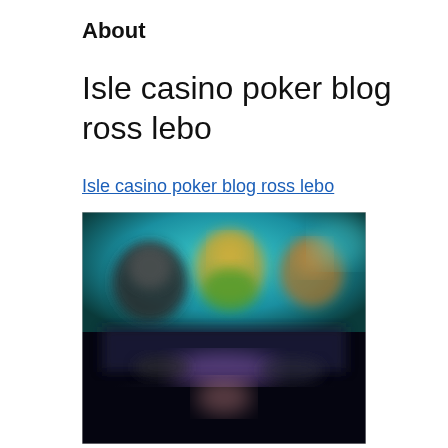About
Isle casino poker blog ross lebo
Isle casino poker blog ross lebo
[Figure (photo): Blurred screenshot of a casino poker game interface showing player avatars and a game table with dark background and colorful elements]